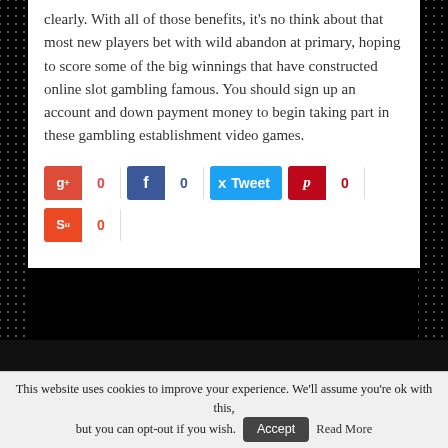clearly. With all of those benefits, it's no think about that most new players bet with wild abandon at primary, hoping to score some of the big winnings that have constructed online slot gambling famous. You should sign up an account and down payment money to begin taking part in these gambling establishment video games.
[Figure (infographic): Social sharing buttons row: Google+ (0), Facebook (0), Tweet (0), Pinterest (0), StumbleUpon (0)]
This website uses cookies to improve your experience. We'll assume you're ok with this, but you can opt-out if you wish. Accept Read More